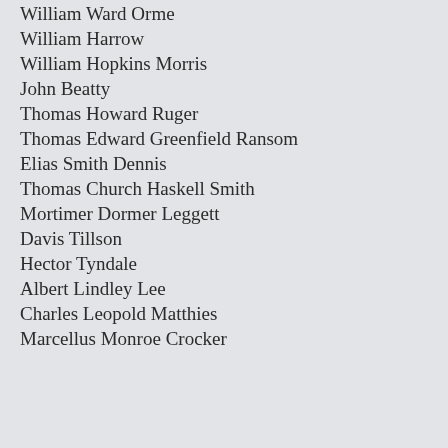William Ward Orme
William Harrow
William Hopkins Morris
John Beatty
Thomas Howard Ruger
Thomas Edward Greenfield Ransom
Elias Smith Dennis
Thomas Church Haskell Smith
Mortimer Dormer Leggett
Davis Tillson
Hector Tyndale
Albert Lindley Lee
Charles Leopold Matthies
Marcellus Monroe Crocker